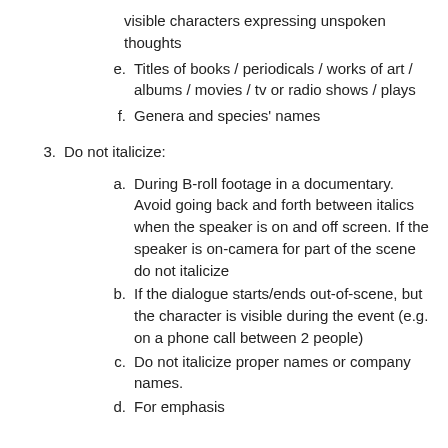visible characters expressing unspoken thoughts
e. Titles of books / periodicals / works of art / albums / movies / tv or radio shows / plays
f. Genera and species' names
3. Do not italicize:
a. During B-roll footage in a documentary. Avoid going back and forth between italics when the speaker is on and off screen. If the speaker is on-camera for part of the scene do not italicize
b. If the dialogue starts/ends out-of-scene, but the character is visible during the event (e.g. on a phone call between 2 people)
c. Do not italicize proper names or company names.
d. For emphasis